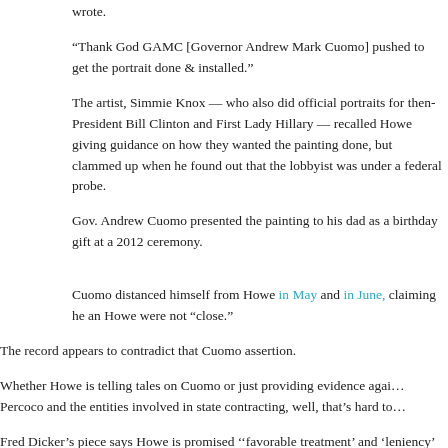wrote.
“Thank God GAMC [Governor Andrew Mark Cuomo] pushed to get the portrait done & installed.”
The artist, Simmie Knox — who also did official portraits for then-President Bill Clinton and First Lady Hillary — recalled Howe giving guidance on how they wanted the painting done, but clammed up when he found out that the lobbyist was under a federal probe.
Gov. Andrew Cuomo presented the painting to his dad as a birthday gift at a 2012 ceremony.
Cuomo distanced himself from Howe in May and in June, claiming he and Howe were not “close.”
The record appears to contradict that Cuomo assertion.
Whether Howe is telling tales on Cuomo or just providing evidence against Percoco and the entities involved in state contracting, well, that’s hard to…
Fred Dicker’s piece says Howe is promised ‘‘favorable treatment’ and ‘leniency’ in the event that he’s criminally charged, in exchange for full d…